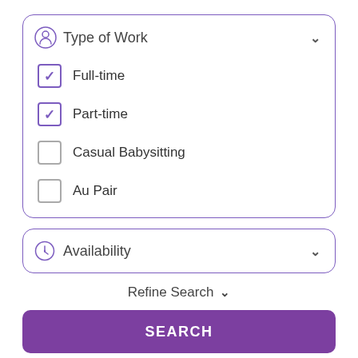Type of Work
Full-time (checked)
Part-time (checked)
Casual Babysitting (unchecked)
Au Pair (unchecked)
Availability
Refine Search
SEARCH